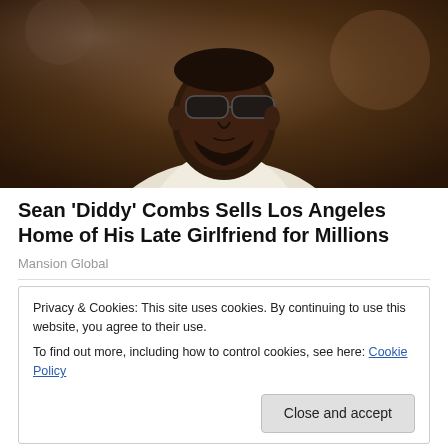[Figure (photo): Close-up photo of a Black man wearing sunglasses and a white tuxedo jacket with a black bow tie. The background is blurred and warm-toned.]
Sean ‘Diddy’ Combs Sells Los Angeles Home of His Late Girlfriend for Millions
Mansion Global
Privacy & Cookies: This site uses cookies. By continuing to use this website, you agree to their use.
To find out more, including how to control cookies, see here: Cookie Policy